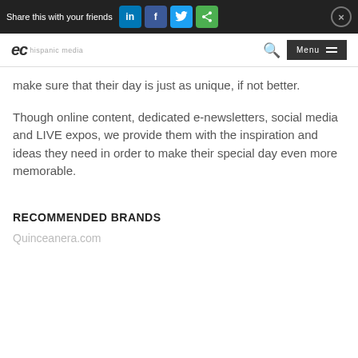Share this with your friends
make sure that their day is just as unique, if not better.
Though online content, dedicated e-newsletters, social media and LIVE expos, we provide them with the inspiration and ideas they need in order to make their special day even more memorable.
RECOMMENDED BRANDS
Quinceanera.com